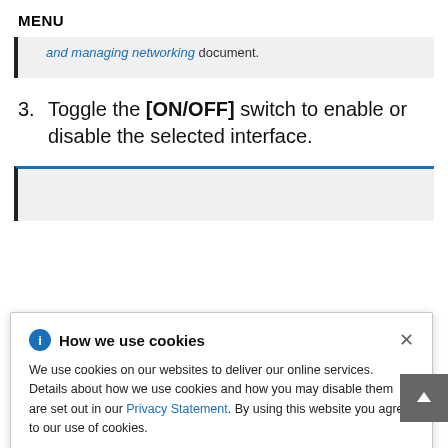MENU
and managing networking document.
3. Toggle the [ON/OFF] switch to enable or disable the selected interface.
[Figure (screenshot): Cookie consent popup overlay: 'How we use cookies' with info icon, close button, body text about cookie usage and Privacy Statement link, partially obscuring a note box below. Behind the overlay: partial text 'tically', 'ces, and', 'manually.' is visible on the right.]
4. Click [+] to add a virtual network interface,